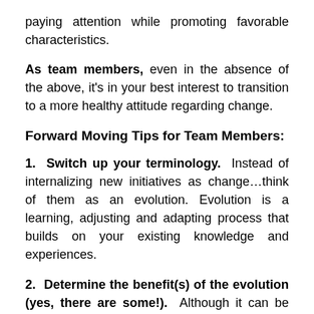paying attention while promoting favorable characteristics.
As team members, even in the absence of the above, it's in your best interest to transition to a more healthy attitude regarding change.
Forward Moving Tips for Team Members:
1.  Switch up your terminology.  Instead of internalizing new initiatives as change…think of them as an evolution. Evolution is a learning, adjusting and adapting process that builds on your existing knowledge and experiences.
2.  Determine the benefit(s) of the evolution (yes, there are some!).  Although it can be difficult to look past the immediate frustrations, looking to the medium and long term can ease some of the current stress.